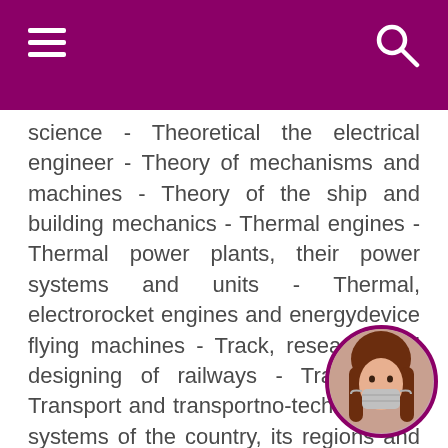science - Theoretical the electrical engineer - Theory of mechanisms and machines - Theory of the ship and building mechanics - Thermal engines - Thermal power plants, their power systems and units - Thermal, electrorocket engines and energydevice flying machines - Track, research and designing of railways - Transport - Transport and transportno-technological systems of the country, its regions and cities, manufacture organisation on transport - Transport, mountain and building mechanical engineering - Turbomachines and combined turbounits - Vacuum and plasma electronics - Vacuum, compressor technics pneumatic systems - Water supply, water dr building systems of protection of water